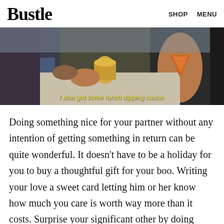Bustle   SHOP   MENU
[Figure (photo): Two people sitting together, one holding a drink can and the other holding pizza, with a yellow subtitle overlay reading 'I also got some ranch dipping sauce.']
Doing something nice for your partner without any intention of getting something in return can be quite wonderful. It doesn't have to be a holiday for you to buy a thoughtful gift for your boo. Writing your love a sweet card letting him or her know how much you care is worth way more than it costs. Surprise your significant other by doing something nice and you will see how nice it will make your relationship feel.